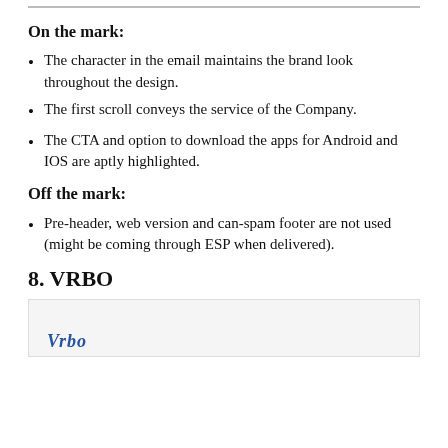On the mark:
The character in the email maintains the brand look throughout the design.
The first scroll conveys the service of the Company.
The CTA and option to download the apps for Android and IOS are aptly highlighted.
Off the mark:
Pre-header, web version and can-spam footer are not used (might be coming through ESP when delivered).
8. VRBO
[Figure (screenshot): Partial screenshot of VRBO email with VRBO logo visible at bottom left]